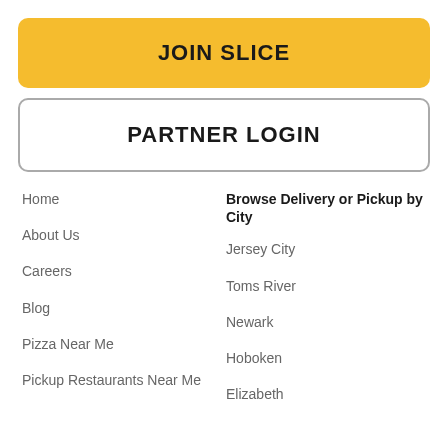JOIN SLICE
PARTNER LOGIN
Home
About Us
Careers
Blog
Pizza Near Me
Pickup Restaurants Near Me
Browse Delivery or Pickup by City
Jersey City
Toms River
Newark
Hoboken
Elizabeth